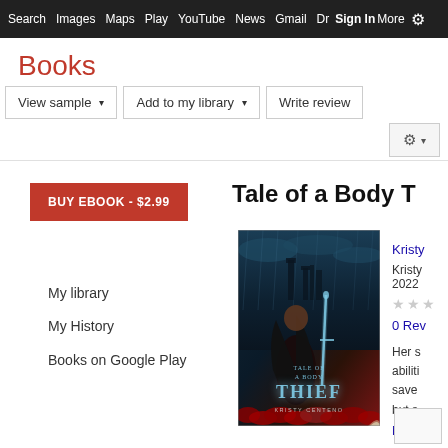Search  Images  Maps  Play  YouTube  News  Gmail  Drive  More  Sign In  ⚙
Books
View sample ▾   Add to my library ▾   Write review   ⚙ ▾
BUY EBOOK - $2.99
Tale of a Body T
[Figure (illustration): Book cover for 'Tale of a Body Thief' by Kristy Centeno — dark fantasy cover showing a girl with long dark hair holding a sword, stormy blue background with castle silhouette, red flowers at bottom, teal glowing title text 'Tale of a Body Thief' and author name 'Kristy Centeno']
Kristy
Kristy
2022
★★★
0 Rev
Her s
abili
save
but s
More
My library
My History
Books on Google Play